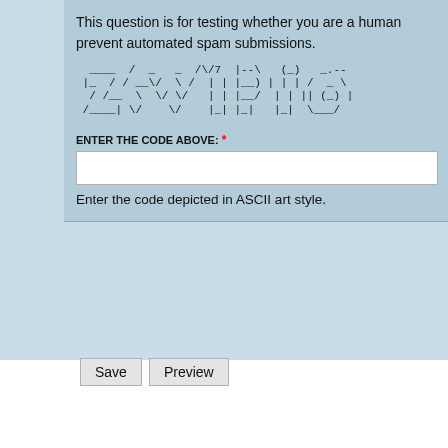This question is for testing whether you are a human prevent automated spam submissions.
[Figure (other): ASCII art CAPTCHA showing the code 'ZWPDG' rendered in large ASCII art characters]
ENTER THE CODE ABOVE: *
Enter the code depicted in ASCII art style.
Save
Preview